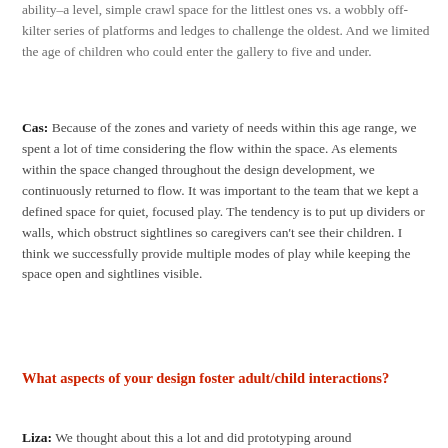We thought hard about zones based on different levels of ability–a level, simple crawl space for the littlest ones vs. a wobbly off-kilter series of platforms and ledges to challenge the oldest. And we limited the age of children who could enter the gallery to five and under.
Cas: Because of the zones and variety of needs within this age range, we spent a lot of time considering the flow within the space. As elements within the space changed throughout the design development, we continuously returned to flow. It was important to the team that we kept a defined space for quiet, focused play. The tendency is to put up dividers or walls, which obstruct sightlines so caregivers can't see their children. I think we successfully provide multiple modes of play while keeping the space open and sightlines visible.
What aspects of your design foster adult/child interactions?
Liza: We thought about this a lot and did prototyping around